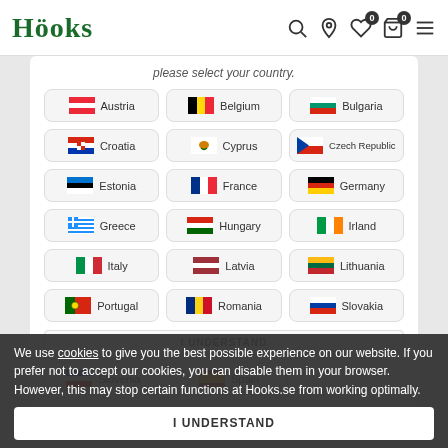Höoks — navigation header with search, location, wishlist (0), cart (0), and menu icons
please select your country.
[Figure (infographic): Country selection grid with flag icons and country names: Austria, Belgium, Bulgaria, Croatia, Cyprus, Czech Republic, Estonia, France, Germany, Greece, Hungary, Irland, Italy, Latvia, Lithuania, Portugal, Romania, Slovakia, Slovenia, Spain]
We use cookies to give you the best possible experience on our website. If you prefer not to accept our cookies, you can disable them in your browser. However, this may stop certain functions at Hooks.se from working optimally.
I UNDERSTAND